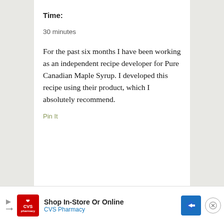Time:
30 minutes
For the past six months I have been working as an independent recipe developer for Pure Canadian Maple Syrup. I developed this recipe using their product, which I absolutely recommend.
Pin It
[Figure (infographic): CVS Pharmacy advertisement banner: CVS logo on red background, text 'Shop In-Store Or Online' and 'CVS Pharmacy', blue diamond direction icon, and close button]